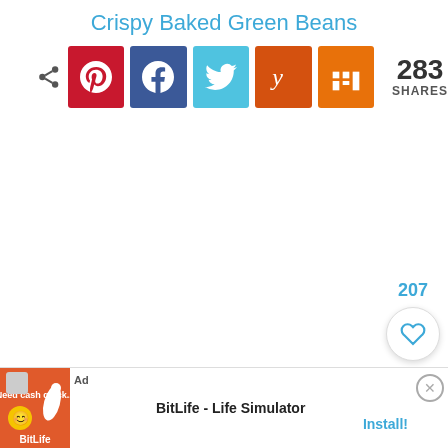Crispy Baked Green Beans
[Figure (screenshot): Social share buttons row: Pinterest (red), Facebook (blue), Twitter (light blue), Yummly (dark orange), Mix (orange), share icon and 283 SHARES count]
[Figure (screenshot): Floating action buttons on right side: 207 count, heart/favorite button (white circle with heart icon), search button (teal circle with magnifying glass icon)]
[Figure (screenshot): Ad banner at bottom: BitLife - Life Simulator app advertisement with Install! call to action and close button]